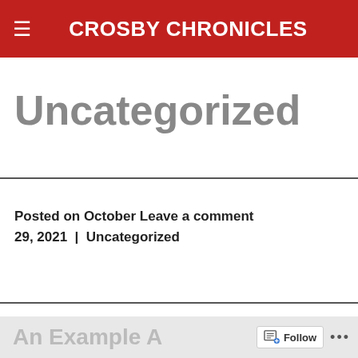CROSBY CHRONICLES
Uncategorized
Posted on October 29, 2021  |  Uncategorized  Leave a comment
An Example A... Follow ...